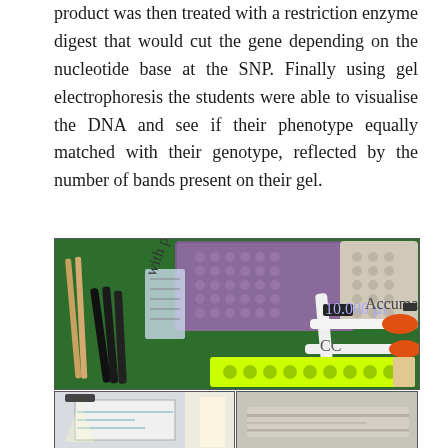product was then treated with a restriction enzyme digest that would cut the gene depending on the nucleotide base at the SNP. Finally using gel electrophoresis the students were able to visualise the DNA and see if their phenotype equally matched with their genotype, reflected by the number of bands present on their gel.
[Figure (photo): Top photo: laboratory equipment on a green tray including pipettes (Accumax brand), a purple multi-well plate box, yellow tube rack, black markers, and wooden sticks. Bottom-left photo: a whiteboard or screen in a classroom/lab. Bottom-right photo: a close-up of a gel electrophoresis gel strip.]